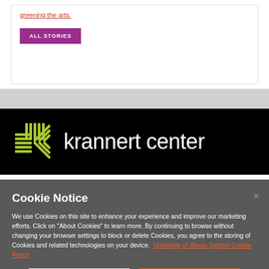how we're greening the arts.
ALL STORIES
[Figure (logo): Krannert Center logo: yellow-green cross/arrow symbol on black background next to white text reading 'krannert center']
Cookie Notice
We use Cookies on this site to enhance your experience and improve our marketing efforts. Click on "About Cookies" to learn more. By continuing to browse without changing your browser settings to block or delete Cookies, you agree to the storing of Cookies and related technologies on your device.  University of Illinois System Cookie Policy
About Cookies
Close this Notice